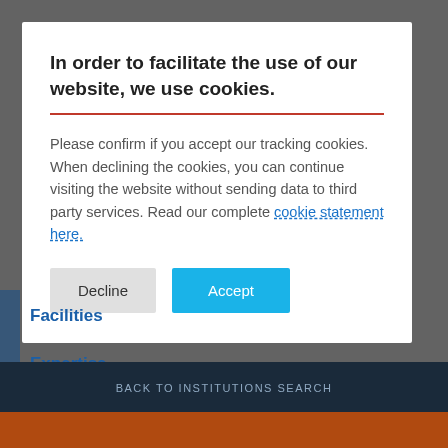In order to facilitate the use of our website, we use cookies.
Please confirm if you accept our tracking cookies. When declining the cookies, you can continue visiting the website without sending data to third party services. Read our complete cookie statement here.
Decline  Accept
Facilities
Expertise
BACK TO INSTITUTIONS SEARCH